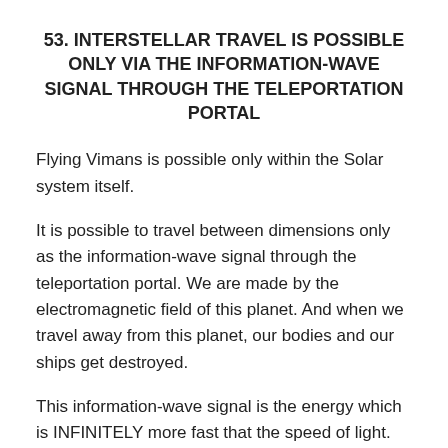53. INTERSTELLAR TRAVEL IS POSSIBLE ONLY VIA THE INFORMATION-WAVE SIGNAL THROUGH THE TELEPORTATION PORTAL
Flying Vimans is possible only within the Solar system itself.
It is possible to travel between dimensions only as the information-wave signal through the teleportation portal. We are made by the electromagnetic field of this planet. And when we travel away from this planet, our bodies and our ships get destroyed.
This information-wave signal is the energy which is INFINITELY more fast that the speed of light.
This energy can instantaneously reach the infinite number